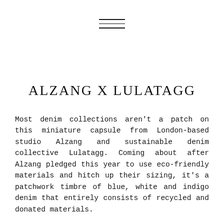[Figure (other): Hamburger menu icon consisting of three horizontal lines stacked vertically, centered at the top of the page]
ALZANG X LULATAGG
Most denim collections aren't a patch on this miniature capsule from London-based studio Alzang and sustainable denim collective Lulatagg. Coming about after Alzang pledged this year to use eco-friendly materials and hitch up their sizing, it's a patchwork timbre of blue, white and indigo denim that entirely consists of recycled and donated materials.
Huge props, too, to the imagery goes with it. We